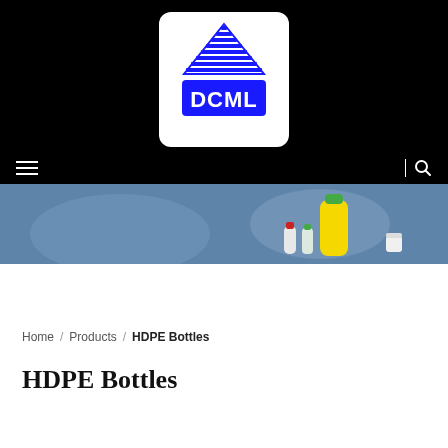[Figure (logo): DCML company logo: blue pyramid/triangle shape made of horizontal lines above blue text 'DCML' in a white rounded-corner box on black background]
[Figure (photo): Hero image banner showing plastic bottles including a yellow bottle with green cap and smaller red-capped bottles on a blue background]
Home / Products / HDPE Bottles
HDPE Bottles